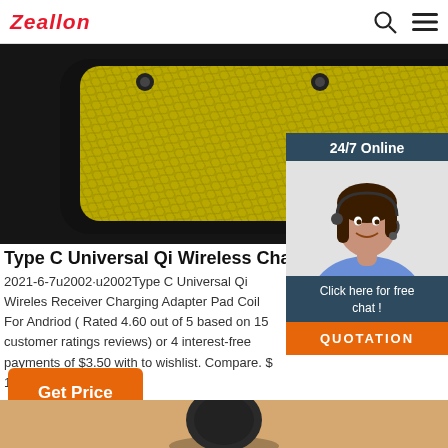Zeallon
[Figure (photo): Product photo of a yellow and black wireless charger device against dark background]
[Figure (photo): 24/7 Online chat widget showing a female customer service agent with headset, with 'Click here for free chat!' text and QUOTATION button]
Type C Universal Qi Wireless Charger Receiv
2021-6-7u2002·u2002Type C Universal Qi Wireles Receiver Charging Adapter Pad Coil For Andriod ( Rated 4.60 out of 5 based on 15 customer ratings reviews) or 4 interest-free payments of $3.50 with to wishlist. Compare. $ 13.99.
[Figure (photo): Bottom strip showing partial product image on tan/orange background]